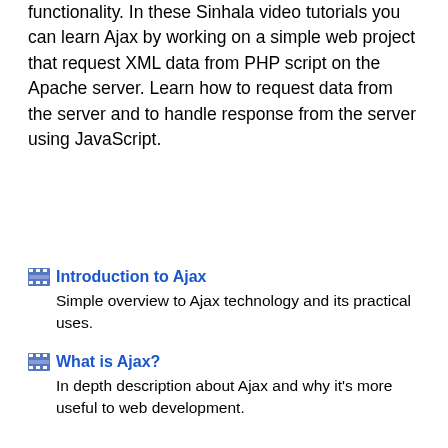functionality. In these Sinhala video tutorials you can learn Ajax by working on a simple web project that request XML data from PHP script on the Apache server. Learn how to request data from the server and to handle response from the server using JavaScript.
Introduction to Ajax
Simple overview to Ajax technology and its practical uses.
What is Ajax?
In depth description about Ajax and why it's more useful to web development.